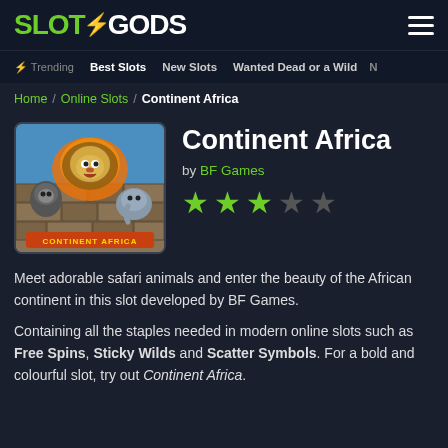SLOT GODS
Trending  Best Slots  New Slots  Wanted Dead or a Wild
Home / Online Slots / Continent Africa
Continent Africa
by BF Games
[Figure (illustration): Continent Africa slot game thumbnail showing animated safari animals - a lion, gorilla, and elephant with the game title text below]
3 out of 5 stars rating
Meet adorable safari animals and enter the beauty of the African continent in this slot developed by BF Games.
Containing all the staples needed in modern online slots such as Free Spins, Sticky Wilds and Scatter Symbols. For a bold and colourful slot, try out Continent Africa.